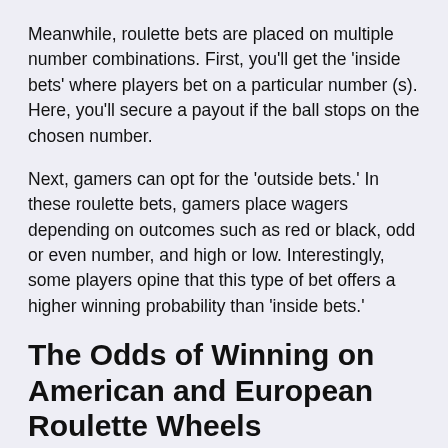Meanwhile, roulette bets are placed on multiple number combinations. First, you'll get the 'inside bets' where players bet on a particular number (s). Here, you'll secure a payout if the ball stops on the chosen number.
Next, gamers can opt for the 'outside bets.' In these roulette bets, gamers place wagers depending on outcomes such as red or black, odd or even number, and high or low. Interestingly, some players opine that this type of bet offers a higher winning probability than 'inside bets.'
The Odds of Winning on American and European Roulette Wheels
As said earlier, the inclusion of the '00' pocket on the American wheel makes the waters murkier.